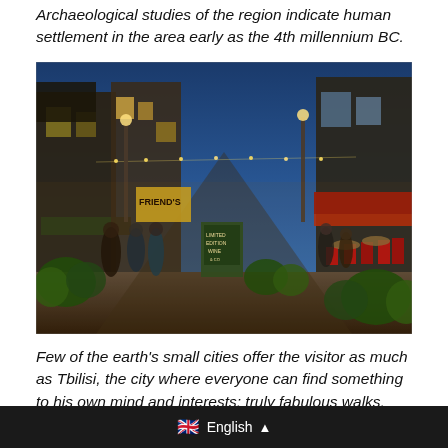Archaeological studies of the region indicate human settlement in the area early as the 4th millennium BC.
[Figure (photo): Night-time street scene of a busy pedestrian area in Tbilisi, Georgia, with outdoor restaurant seating, red chairs, string lights, illuminated shop signs including 'FRIEND'S' and 'LIMITED EDITION WINE & CO', people walking and dining, under a blue evening sky.]
Few of the earth's small cities offer the visitor as much as Tbilisi, the city where everyone can find something to his own mind and interests: truly fabulous walks, fantastic modern
🇬🇧 English ▲